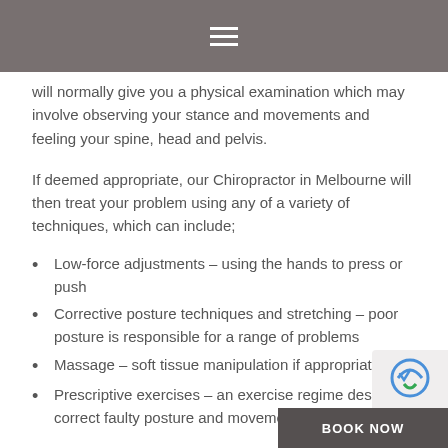≡ (hamburger menu icon)
will normally give you a physical examination which may involve observing your stance and movements and feeling your spine, head and pelvis.
If deemed appropriate, our Chiropractor in Melbourne will then treat your problem using any of a variety of techniques, which can include;
Low-force adjustments – using the hands to press or push
Corrective posture techniques and stretching – poor posture is responsible for a range of problems
Massage – soft tissue manipulation if appropriate
Prescriptive exercises – an exercise regime designed to correct faulty posture and movement...